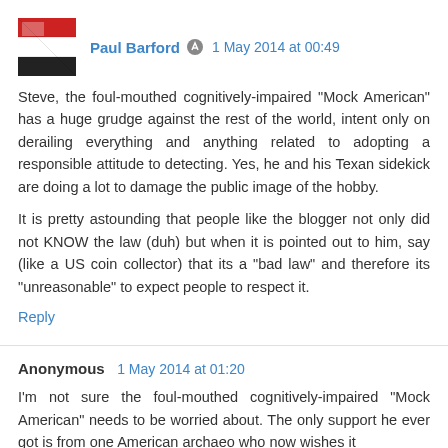[Figure (photo): Avatar photo of Paul Barford showing a flag image in red, black and white]
Paul Barford  1 May 2014 at 00:49
Steve, the foul-mouthed cognitively-impaired "Mock American" has a huge grudge against the rest of the world, intent only on derailing everything and anything related to adopting a responsible attitude to detecting. Yes, he and his Texan sidekick are doing a lot to damage the public image of the hobby.
It is pretty astounding that people like the blogger not only did not KNOW the law (duh) but when it is pointed out to him, say (like a US coin collector) that its a "bad law" and therefore its "unreasonable" to expect people to respect it.
Reply
Anonymous  1 May 2014 at 01:20
I'm not sure the foul-mouthed cognitively-impaired "Mock American" needs to be worried about. The only support he ever got is from one American archaeo who now wishes it